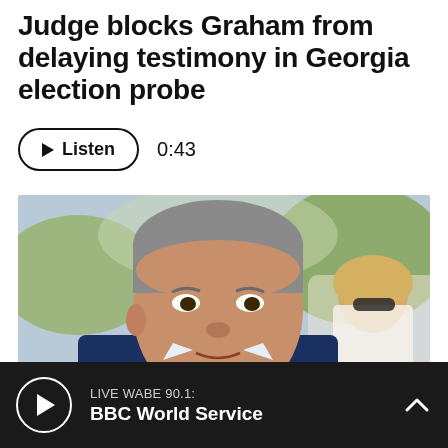Judge blocks Graham from delaying testimony in Georgia election probe
[Figure (photo): A man in a navy blue suit with a green tie, gray hair, in an outdoor setting with blurred background. A woman with blonde hair and sunglasses is visible behind him.]
LIVE WABE 90.1: BBC World Service